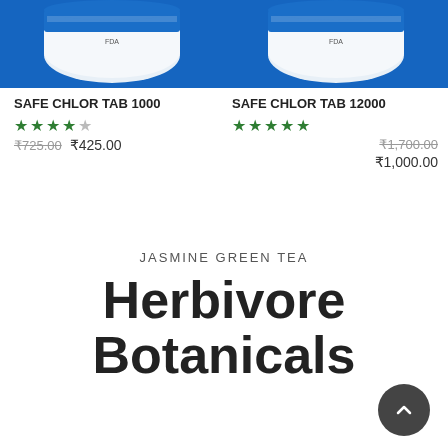[Figure (photo): Product photo of SAFE CHLOR TAB 1000 on blue background — white cylindrical container top]
[Figure (photo): Product photo of SAFE CHLOR TAB 12000 on blue background — white cylindrical container top]
SAFE CHLOR TAB 1000
★★★★☆  ₹725.00  ₹425.00
SAFE CHLOR TAB 12000
★★★★★  ₹1,700.00  ₹1,000.00
JASMINE GREEN TEA
Herbivore Botanicals